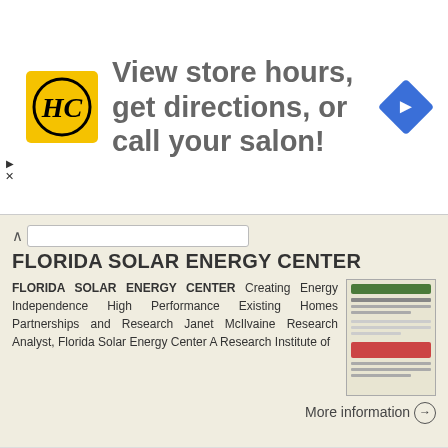[Figure (logo): HC salon logo in yellow square with italic bold letters HC]
View store hours, get directions, or call your salon!
[Figure (illustration): Blue diamond navigation arrow icon pointing right]
FLORIDA SOLAR ENERGY CENTER
FLORIDA SOLAR ENERGY CENTER Creating Energy Independence High Performance Existing Homes Partnerships and Research Janet McIlvaine Research Analyst, Florida Solar Energy Center A Research Institute of
[Figure (screenshot): Thumbnail image of Florida Solar Energy Center document]
More information →
Air Conditioning. The opportunity for energy efficiency. Low cost actions to reduce energy usage now
Fact Sheet #6 Air Conditioning In this fact sheet you will discover: The opportunity for energy efficiency. How air conditioning works
[Figure (screenshot): Thumbnail of Air Conditioning fact sheet document]